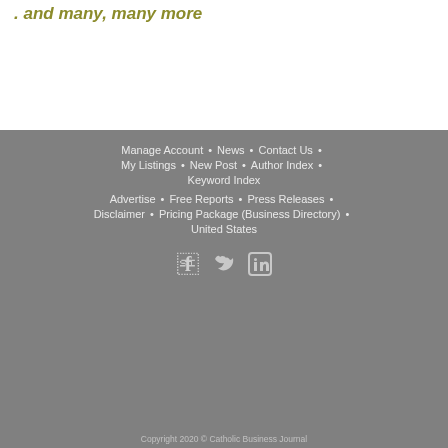. and many, many more
Manage Account • News • Contact Us • My Listings • New Post • Author Index • Keyword Index • Advertise • Free Reports • Press Releases • Disclaimer • Pricing Package (Business Directory) • United States
[Figure (infographic): Social media icons: Facebook, Twitter, LinkedIn]
Copyright 2020 © Catholic Business Journal